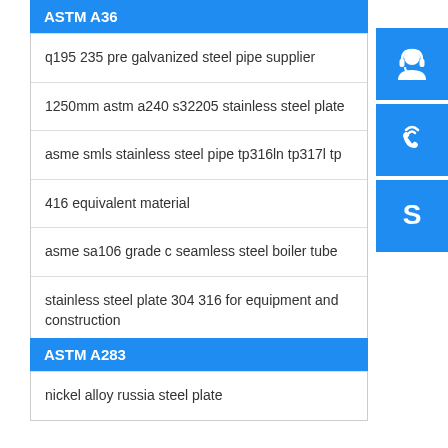ASTM A36
q195 235 pre galvanized steel pipe supplier
1250mm astm a240 s32205 stainless steel plate
asme smls stainless steel pipe tp316ln tp317l tp
416 equivalent material
asme sa106 grade c seamless steel boiler tube
stainless steel plate 304 316 for equipment and construction
ASTM A283
nickel alloy russia steel plate